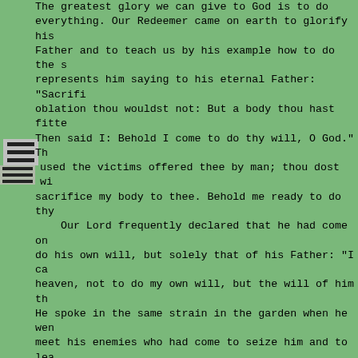The greatest glory we can give to God is to do everything. Our Redeemer came on earth to glorify his Father and to teach us by his example how to do the s. represents him saying to his eternal Father: "Sacrifice oblation thou wouldst not: But a body thou hast fitted Then said I: Behold I come to do thy will, O God." Th used the victims offered thee by man; thou dost wi sacrifice my body to thee. Behold me ready to do thy Our Lord frequently declared that he had come on do his own will, but solely that of his Father: "I ca heaven, not to do my own will, but the will of him th He spoke in the same strain in the garden when he wen meet his enemies who had come to seize him and to lea death: "But that the world may know that I love the F the Father hath given me commandment, so do I; arise hence." Furthermore, he said he would recognize as hi him who would do his will: "Whosoever shall do the wi Father who is in heaven, he is my brother." To do God's will -- this was the goal upon which constantly fixed their gaze. They were fully persuade this consists the entire perfection of the soul. Ble Suso used to say: "It is not God's will that we shoul spiritual delights, but that in all things we should holy will.'' "Those who give themselves to prayer," s Teresa, "should concentrate solely on this: the confo their wills with the divine will. They should be conv this constitutes their highest perfection. The more f practice this, the greater the gifts they will receiv and the greater the progress they will make in the in A certain Dominican nun was vouchsafed a vision of he She recognized there some persons she had known duri